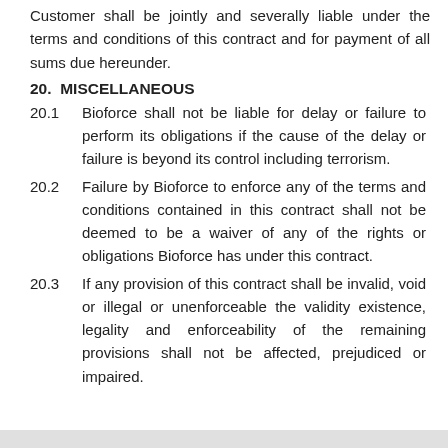Customer shall be jointly and severally liable under the terms and conditions of this contract and for payment of all sums due hereunder.
20.  MISCELLANEOUS
20.1      Bioforce shall not be liable for delay or failure to perform its obligations if the cause of the delay or failure is beyond its control including terrorism.
20.2      Failure by Bioforce to enforce any of the terms and conditions contained in this contract shall not be deemed to be a waiver of any of the rights or obligations Bioforce has under this contract.
20.3      If any provision of this contract shall be invalid, void or illegal or unenforceable the validity existence, legality and enforceability of the remaining provisions shall not be affected, prejudiced or impaired.